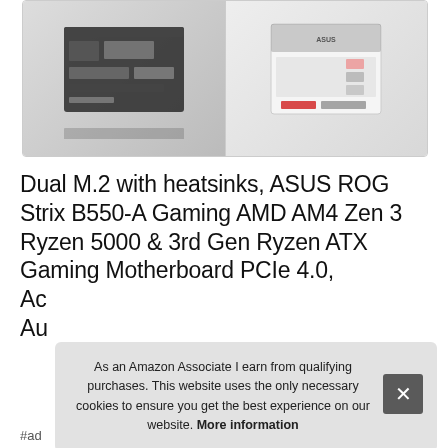[Figure (photo): Product images of ASUS ROG Strix B550-A Gaming motherboard — left panel shows the bare motherboard, right panel shows the retail box packaging. White background with gray border.]
Dual M.2 with heatsinks, ASUS ROG Strix B550-A Gaming AMD AM4 Zen 3 Ryzen 5000 & 3rd Gen Ryzen ATX Gaming Motherboard PCIe 4.0, Ac Au
As an Amazon Associate I earn from qualifying purchases. This website uses the only necessary cookies to ensure you get the best experience on our website. More information
#ad